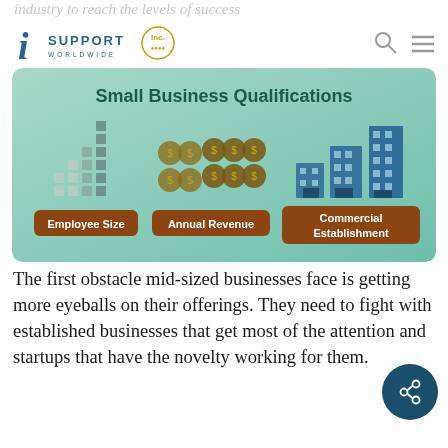iSUPPORT WORLDWIDE
[Figure (infographic): Small Business Qualifications infographic showing three categories: Employee Size (illustrated with person icons in bar-chart style), Annual Revenue (illustrated with money bag icons), and Commercial Establishment (illustrated with building icons), on a teal/mint green gradient background.]
The first obstacle mid-sized businesses face is getting more eyeballs on their offerings. They need to fight with established businesses that get most of the attention and startups that have the novelty working for them.